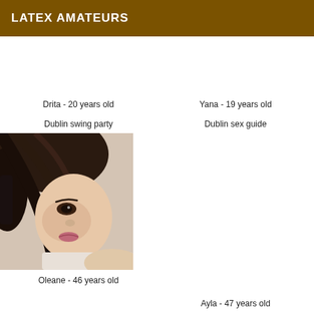LATEX AMATEURS
Drita - 20 years old
Dublin swing party
[Figure (photo): Close-up photo of a young woman with dark hair lying down, looking at camera]
Oleane - 46 years old
Yana - 19 years old
Dublin sex guide
Ayla - 47 years old